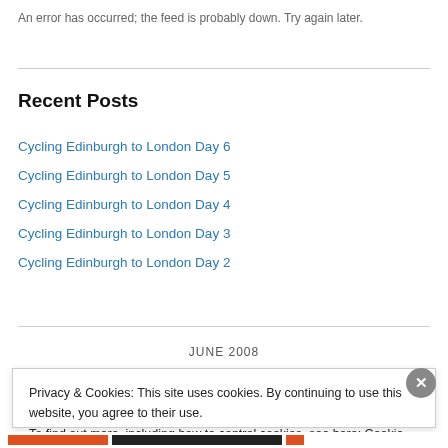An error has occurred; the feed is probably down. Try again later.
Recent Posts
Cycling Edinburgh to London Day 6
Cycling Edinburgh to London Day 5
Cycling Edinburgh to London Day 4
Cycling Edinburgh to London Day 3
Cycling Edinburgh to London Day 2
JUNE 2008
Privacy & Cookies: This site uses cookies. By continuing to use this website, you agree to their use.
To find out more, including how to control cookies, see here: Cookie Policy
Close and accept